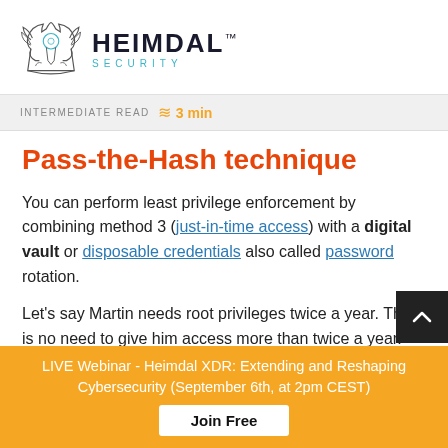[Figure (logo): Heimdal Security logo with viking helmet outline illustration and HEIMDAL™ SECURITY wordmark]
INTERMEDIATE READ ≈≈≈ 3 min
Pass-the-Hash technique
You can perform least privilege enforcement by combining method 3 (just-in-time access) with a digital vault or disposable credentials also called password rotation.
Let's say Martin needs root privileges twice a year. There is no need to give him access more than twice a year. Because he needs this access so rarely, he can use disposable credentials. This way, you can monitor Mo...
LIVE Webinar - Heimdal XDR: Extending and Reshaping Cybersecurity (September 6th, at 2pm CEST)
Join Free